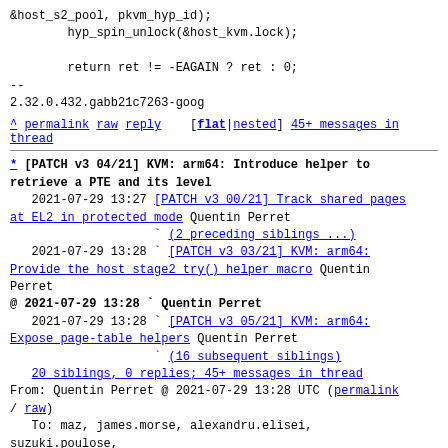&host_s2_pool, pkvm_hyp_id);
        hyp_spin_unlock(&host_kvm.lock);

        return ret != -EAGAIN ? ret : 0;
--
2.32.0.432.gabb21c7263-goog
^ permalink raw reply [flat|nested] 45+ messages in thread
* [PATCH v3 04/21] KVM: arm64: Introduce helper to retrieve a PTE and its level
   2021-07-29 13:27 [PATCH v3 00/21] Track shared pages at EL2 in protected mode Quentin Perret
                    ` (2 preceding siblings ...)
   2021-07-29 13:28 ` [PATCH v3 03/21] KVM: arm64: Provide the host stage2 try() helper macro Quentin Perret
@ 2021-07-29 13:28 ` Quentin Perret
   2021-07-29 13:28   ` [PATCH v3 05/21] KVM: arm64: Expose page-table helpers Quentin Perret
                    ` (16 subsequent siblings)
   20 siblings, 0 replies; 45+ messages in thread
From: Quentin Perret @ 2021-07-29 13:28 UTC (permalink / raw)
   To: maz, james.morse, alexandru.elisei, suzuki.poulose,
       catalin.marinas, will